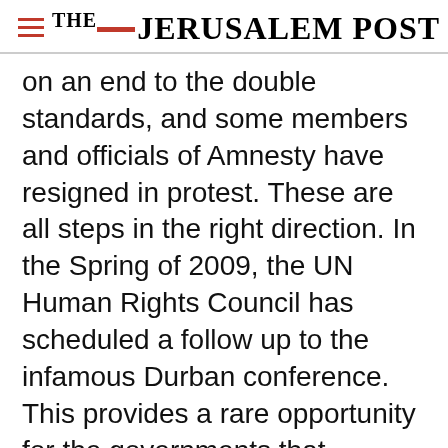THE JERUSALEM POST
on an end to the double standards, and some members and officials of Amnesty have resigned in protest. These are all steps in the right direction. In the Spring of 2009, the UN Human Rights Council has scheduled a follow up to the infamous Durban conference. This provides a rare opportunity for the governments that actually care about human rights, as well as the NGO community, to reverse course, and demonstrate that the lessons have been learned
Advertisement